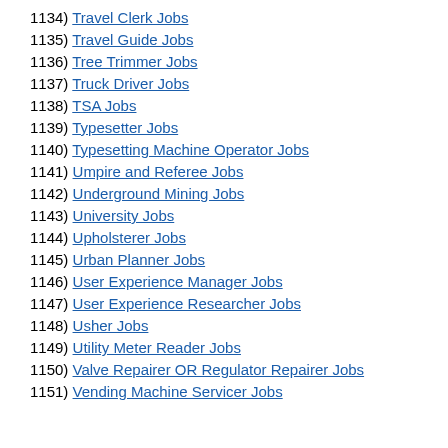1134) Travel Clerk Jobs
1135) Travel Guide Jobs
1136) Tree Trimmer Jobs
1137) Truck Driver Jobs
1138) TSA Jobs
1139) Typesetter Jobs
1140) Typesetting Machine Operator Jobs
1141) Umpire and Referee Jobs
1142) Underground Mining Jobs
1143) University Jobs
1144) Upholsterer Jobs
1145) Urban Planner Jobs
1146) User Experience Manager Jobs
1147) User Experience Researcher Jobs
1148) Usher Jobs
1149) Utility Meter Reader Jobs
1150) Valve Repairer OR Regulator Repairer Jobs
1151) Vending Machine Servicer Jobs